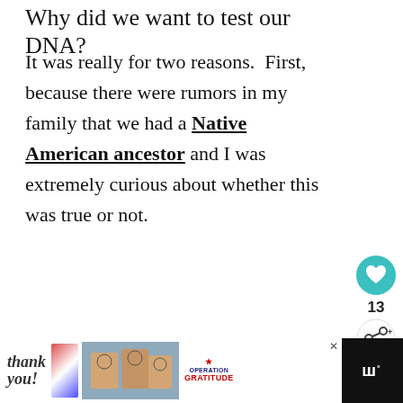Why did we want to test our DNA?
It was really for two reasons.  First, because there were rumors in my family that we had a Native American ancestor and I was extremely curious about whether this was true or not.
[Figure (screenshot): Heart/like button showing count of 13, and a share button below it on the right side of the page.]
[Figure (screenshot): Gray content placeholder box with three gray dots indicating loading or ad content.]
[Figure (screenshot): What's Next panel showing thumbnail and text 'Are There Ancestry DN...']
[Figure (screenshot): Advertisement banner at bottom: 'Thank you!' with Operation Gratitude imagery and logo, and a site logo on the right.]